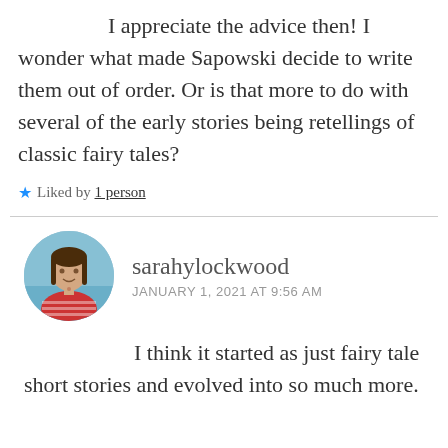I appreciate the advice then! I wonder what made Sapowski decide to write them out of order. Or is that more to do with several of the early stories being retellings of classic fairy tales?
Liked by 1 person
sarahylockwood
JANUARY 1, 2021 AT 9:56 AM
I think it started as just fairy tale short stories and evolved into so much more.